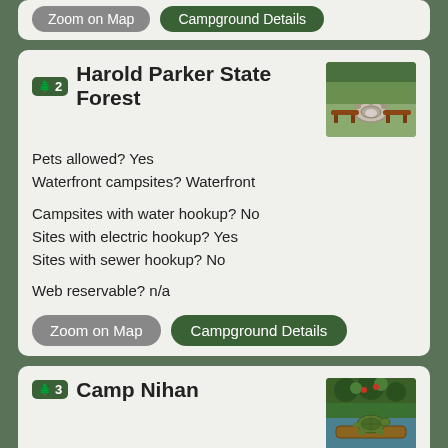Zoom on Map   Campground Details
2 Harold Parker State Forest
[Figure (photo): Photo of a campfire ring with wooden benches/logs on grass]
Pets allowed? Yes
Waterfront campsites? Waterfront

Campsites with water hookup? No
Sites with electric hookup? Yes
Sites with sewer hookup? No

Web reservable? n/a
Zoom on Map   Campground Details
3 Camp Nihan
[Figure (photo): Photo of a turtle on a log near water with green vegetation]
Pets allowed? No
Waterfront campsites? n/a

Campsites with water hookup? No